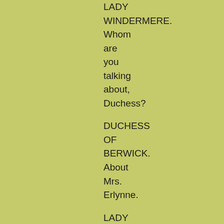LADY WINDERMERE. Whom are you talking about, Duchess?
DUCHESS OF BERWICK. About Mrs. Erlynne.
LADY WINDERMERE. Mrs.